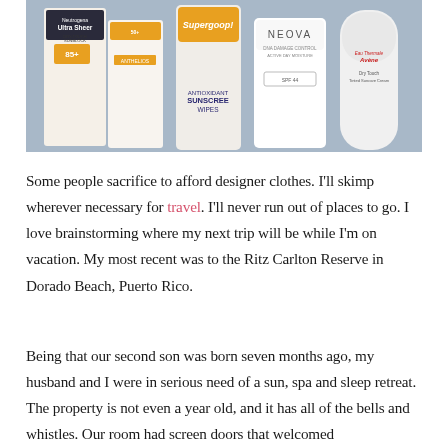[Figure (photo): A collection of sunscreen and skincare products arranged together, including Neutrogena Ultra Sheer Dry-Touch Sunblock SPF 85+, a La Roche-Posay product, Supergoop! Antioxidant Sunscreen Wipes, NEOVA DNA Damage Control sunscreen, and Eau Thermale Avène sunscreen products.]
Some people sacrifice to afford designer clothes. I'll skimp wherever necessary for travel. I'll never run out of places to go. I love brainstorming where my next trip will be while I'm on vacation. My most recent was to the Ritz Carlton Reserve in Dorado Beach, Puerto Rico.
Being that our second son was born seven months ago, my husband and I were in serious need of a sun, spa and sleep retreat. The property is not even a year old, and it has all of the bells and whistles. Our room had screen doors that welcomed